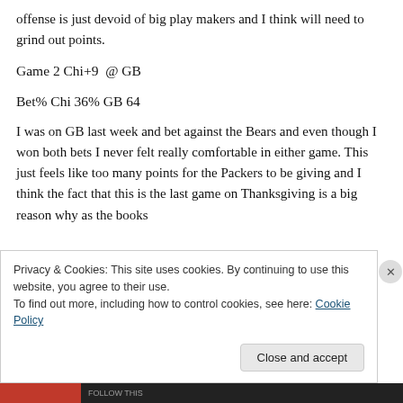offense is just devoid of big play makers and I think will need to grind out points.
Game 2 Chi+9  @ GB
Bet% Chi 36% GB 64
I was on GB last week and bet against the Bears and even though I won both bets I never felt really comfortable in either game. This just feels like too many points for the Packers to be giving and I think the fact that this is the last game on Thanksgiving is a big reason why as the books
Privacy & Cookies: This site uses cookies. By continuing to use this website, you agree to their use.
To find out more, including how to control cookies, see here: Cookie Policy
Close and accept